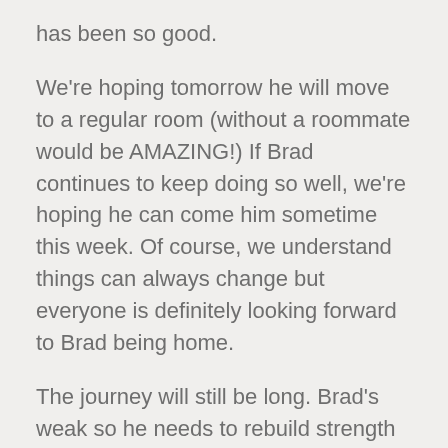has been so good.
We're hoping tomorrow he will move to a regular room (without a roommate would be AMAZING!) If Brad continues to keep doing so well, we're hoping he can come him sometime this week. Of course, we understand things can always change but everyone is definitely looking forward to Brad being home.
The journey will still be long. Brad's weak so he needs to rebuild strength and stamina. He will defiantly be having therapy, but not certain how that will look yet. His fine motor skills, especially on his right side, are still lagging but we are hopeful it will return with some hard work. We still aren't certain how much of